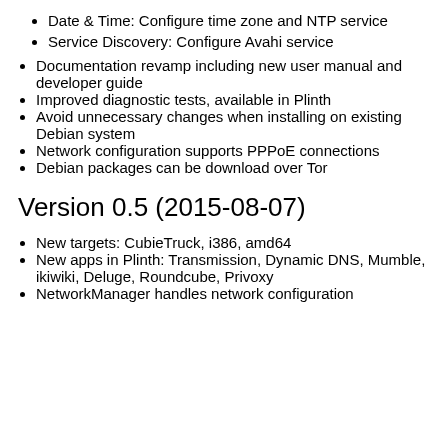Date & Time: Configure time zone and NTP service
Service Discovery: Configure Avahi service
Documentation revamp including new user manual and developer guide
Improved diagnostic tests, available in Plinth
Avoid unnecessary changes when installing on existing Debian system
Network configuration supports PPPoE connections
Debian packages can be download over Tor
Version 0.5 (2015-08-07)
New targets: CubieTruck, i386, amd64
New apps in Plinth: Transmission, Dynamic DNS, Mumble, ikiwiki, Deluge, Roundcube, Privoxy
NetworkManager handles network configuration